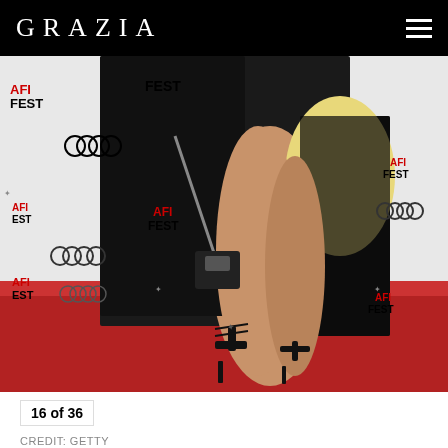GRAZIA
[Figure (photo): A person wearing a black gown with a high slit and lace-up heels on a red carpet at AFI FEST, carrying a small black chain bag. The background shows the AFI FEST and Audi sponsor step-and-repeat banner.]
16 of 36
CREDIT: GETTY